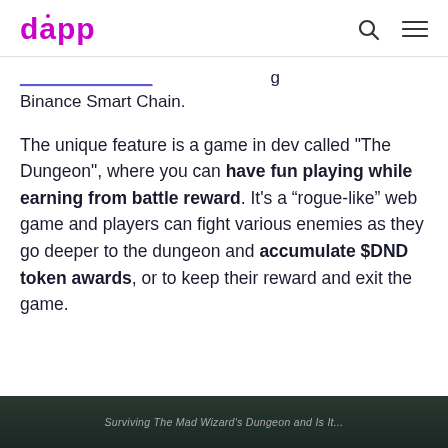dapp
Binance Smart Chain.
The unique feature is a game in dev called "The Dungeon", where you can have fun playing while earning from battle reward. It's a “rogue-like” web game and players can fight various enemies as they go deeper to the dungeon and accumulate $DND token awards, or to keep their reward and exit the game.
[Figure (photo): A dark screenshot of a game scene with caption text partially visible at bottom]